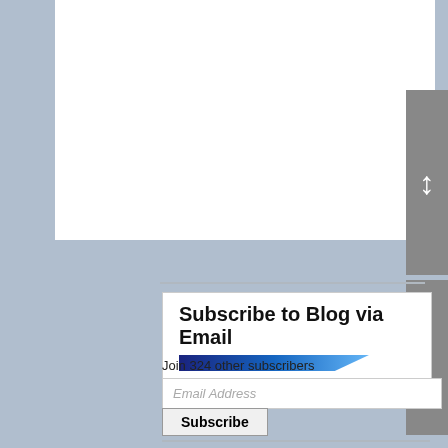[Figure (screenshot): White content area at top of page, partially visible blog content]
Subscribe to Blog via Email
Join 324 other subscribers
[Figure (screenshot): Email Address input field]
[Figure (screenshot): Subscribe button]
| M | T | W | T | F | S | S |
| --- | --- | --- | --- | --- | --- | --- |
| 1 | 2 | 3 | 4 | 5 | 6 | 7 |
| 8 | 9 | 10 | 11 | 12 | 13 | 14 |
| 15 | 16 | 17 | 18 | 19 | 20 | 21 |
| 22 | 23 | 24 | 25 | 26 | 27 | 28 |
| 29 | 30 | 31 |  |  |  |  |